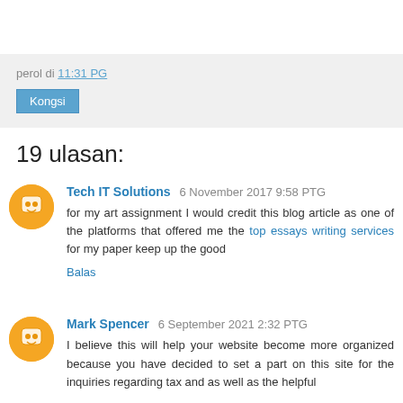perol di 11:31 PG
Kongsi
19 ulasan:
Tech IT Solutions  6 November 2017 9:58 PTG
for my art assignment I would credit this blog article as one of the platforms that offered me the top essays writing services for my paper keep up the good
Balas
Mark Spencer  6 September 2021 2:32 PTG
I believe this will help your website become more organized because you have decided to set a part on this site for the inquiries regarding tax and as well as the helpful